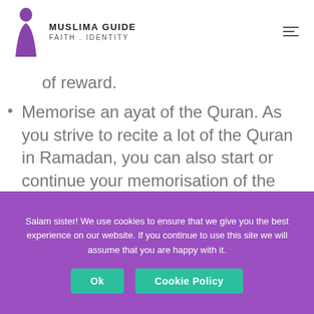MUSLIMA GUIDE · FAITH . IDENTITY
of reward.
Memorise an ayat of the Quran. As you strive to recite a lot of the Quran in Ramadan, you can also start or continue your memorisation of the Quran – by at least an ayat a day.
Call a Family member and
Salam sister! We use cookies to ensure that we give you the best experience on our website. If you continue to use this site we will assume that you are happy with it.